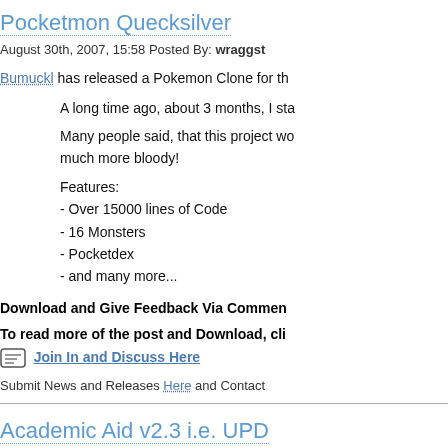Pocketmon Quecksilver
August 30th, 2007, 15:58 Posted By: wraggst
Bumuckl has released a Pokemon Clone for th
A long time ago, about 3 months, I sta
Many people said, that this project wo much more bloody!
Features:
- Over 15000 lines of Code
- 16 Monsters
- Pocketdex
- and many more...
Download and Give Feedback Via Commen
To read more of the post and Download, cli
Join In and Discuss Here
Submit News and Releases Here and Contact
Academic Aid v2.3 i.e. UPD
August 30th, 2007, 16:04 Posted By: wraggst
Mr305 has released a new version of his learn